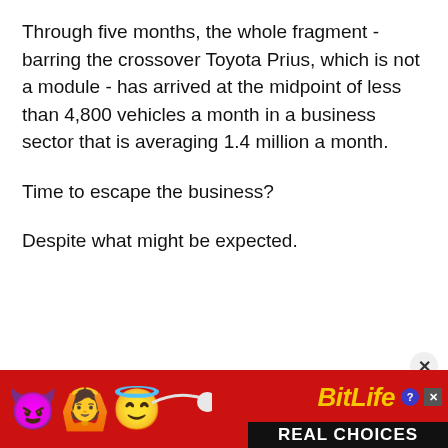Through five months, the whole fragment - barring the crossover Toyota Prius, which is not a module - has arrived at the midpoint of less than 4,800 vehicles a month in a business sector that is averaging 1.4 million a month.
Time to escape the business?
Despite what might be expected.
[Figure (other): Advertisement banner for BitLife - Real Choices app, with a red background, cartoon emojis (devil, woman with arms raised, angel face), a sperm/tadpole graphic, BitLife logo in yellow italic text, question mark and X icons, and 'REAL CHOICES' in white text on black background.]